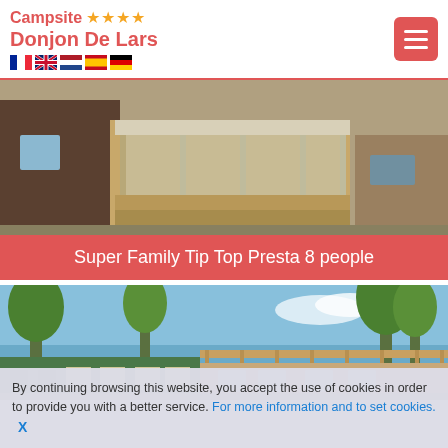Campsite ★★★★ Donjon De Lars
[Figure (photo): Mobile home / chalet accommodation at campsite, brown wood cladding with transparent canopy/veranda structure]
Super Family Tip Top Presta 8 people
[Figure (photo): Campsite mobile home with green roof, wooden pergola/terrace, blue sky and tall trees in background]
By continuing browsing this website, you accept the use of cookies in order to provide you with a better service. For more information and to set cookies.   X